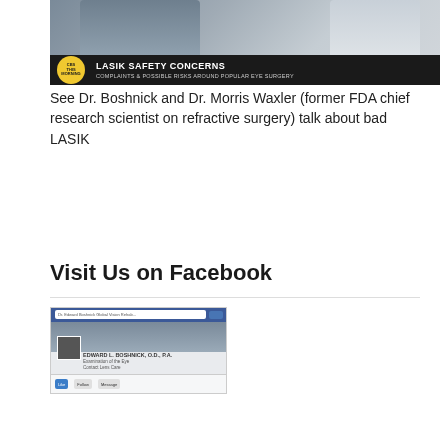[Figure (photo): CBS This Morning banner showing two people (medical professionals) with headline 'LASIK SAFETY CONCERNS — Complaints & Possible Risks Around Popular Eye Surgery']
See Dr. Boshnick and Dr. Morris Waxler (former FDA chief research scientist on refractive surgery) talk about bad LASIK
Visit Us on Facebook
[Figure (screenshot): Screenshot of Facebook page for Edward L. Boshnick, O.D., P.A. — Examination of the Eye, Contact Lens Care, showing profile photo and page header]